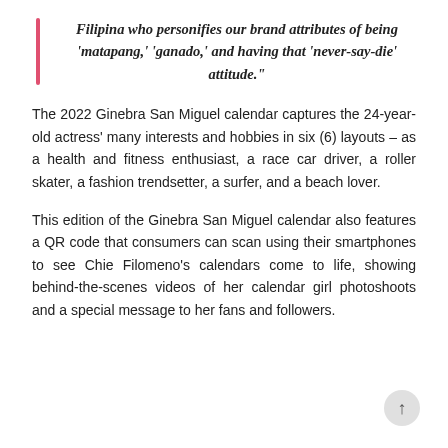Filipina who personifies our brand attributes of being 'matapang,' 'ganado,' and having that 'never-say-die' attitude."
The 2022 Ginebra San Miguel calendar captures the 24-year-old actress' many interests and hobbies in six (6) layouts – as a health and fitness enthusiast, a race car driver, a roller skater, a fashion trendsetter, a surfer, and a beach lover.
This edition of the Ginebra San Miguel calendar also features a QR code that consumers can scan using their smartphones to see Chie Filomeno's calendars come to life, showing behind-the-scenes videos of her calendar girl photoshoots and a special message to her fans and followers.